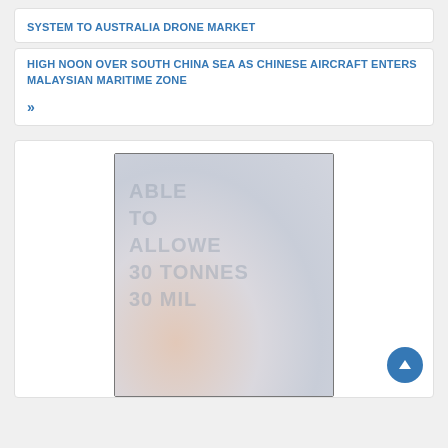SYSTEM TO AUSTRALIA DRONE MARKET
HIGH NOON OVER SOUTH CHINA SEA AS CHINESE AIRCRAFT ENTERS MALAYSIAN MARITIME ZONE
»
[Figure (photo): A partially visible photograph with gradient tones — light blue-grey at top, transitioning to warm peach/tan at bottom left. Faint watermark text visible reading 'ABLE / TO / ALLOWE / 30 TONNES / 30 MIL' in large light grey letters overlaid on the image.]